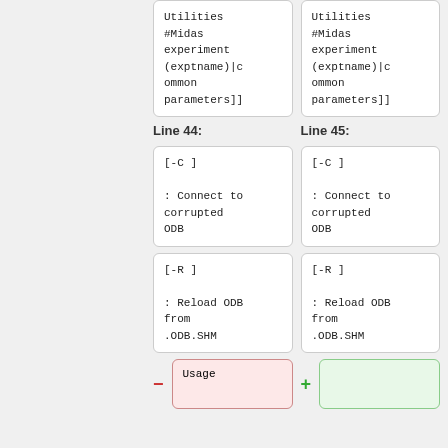| Line 44: | Line 45: |
| --- | --- |
| Utilities
#Midas experiment
(exptname)|common parameters]] | Utilities
#Midas experiment
(exptname)|common parameters]] |
| [-C ]

: Connect to corrupted ODB | [-C ]

: Connect to corrupted ODB |
| [-R ]

: Reload ODB from .ODB.SHM | [-R ]

: Reload ODB from .ODB.SHM |
| Usage |  |